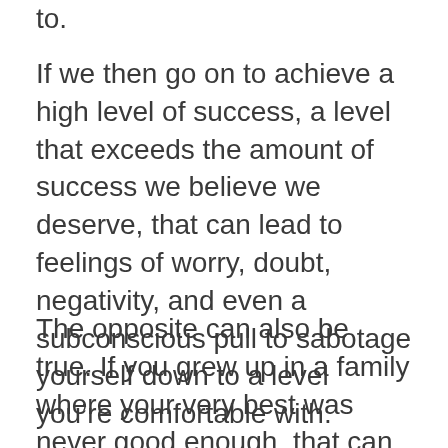to.
If we then go on to achieve a high level of success, a level that exceeds the amount of success we believe we deserve, that can lead to feelings of worry, doubt, negativity, and even a subconscious pull to sabotage yourself down to a level you’re comfortable with.
The opposite can also be true. If you grew up in a family where your very best was never good enough, that can create a program where